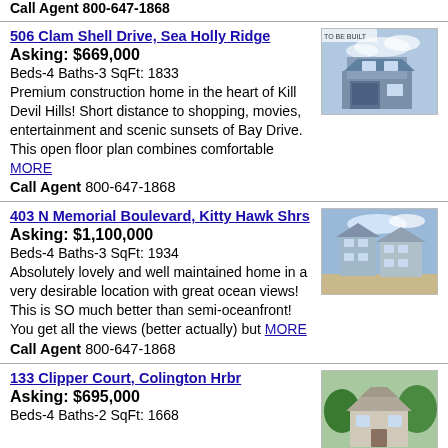Call Agent 800-647-1868
506 Clam Shell Drive, Sea Holly Ridge
Asking: $669,000
Beds-4 Baths-3 SqFt: 1833
Premium construction home in the heart of Kill Devil Hills! Short distance to shopping, movies, entertainment and scenic sunsets of Bay Drive. This open floor plan combines comfortable MORE
Call Agent 800-647-1868
[Figure (photo): Photo of house under construction labeled TO BE BUILT, two-story home with garage]
403 N Memorial Boulevard, Kitty Hawk Shrs
Asking: $1,100,000
Beds-4 Baths-3 SqFt: 1934
Absolutely lovely and well maintained home in a very desirable location with great ocean views! This is SO much better than semi-oceanfront! You get all the views (better actually) but MORE
Call Agent 800-647-1868
[Figure (photo): Aerial photo of multi-story beach home]
133 Clipper Court, Colington Hrbr
Asking: $695,000
Beds-4 Baths-2 SqFt: 1668